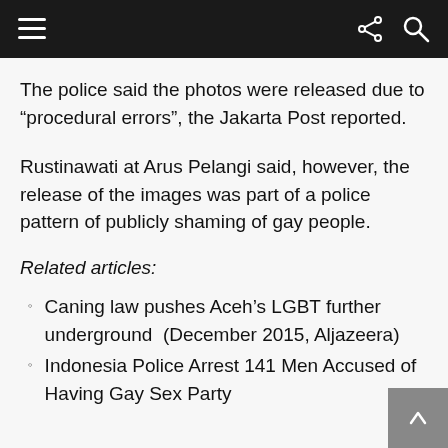The police said the photos were released due to “procedural errors”, the Jakarta Post reported.
Rustinawati at Arus Pelangi said, however, the release of the images was part of a police pattern of publicly shaming of gay people.
Related articles:
Caning law pushes Aceh’s LGBT further underground  (December 2015, Aljazeera)
Indonesia Police Arrest 141 Men Accused of Having Gay Sex Party